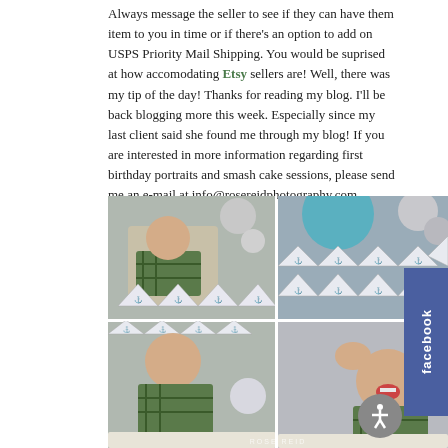Always message the seller to see if they can have them item to you in time or if there's an option to add on USPS Priority Mail Shipping. You would be suprised at how accomodating Etsy sellers are! Well, there was my tip of the day! Thanks for reading my blog. I'll be back blogging more this week. Especially since my last client said she found me through my blog! If you are interested in more information regarding first birthday portraits and smash cake sessions, please send me an e-mail at info@rosereidphotography.com .
[Figure (photo): A collage of four photographs showing a baby boy at a nautical-themed first birthday smash cake photo session. The photos show the child in a plaid shirt with nautical decorations including anchor bunting flags and paper pinwheels in grey and white. Watermark reads ROSE REID.]